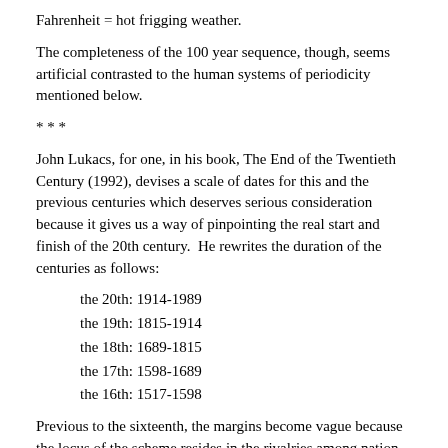Fahrenheit = hot frigging weather.
The completeness of the 100 year sequence, though, seems artificial contrasted to the human systems of periodicity mentioned below.
* * *
John Lukacs, for one, in his book, The End of the Twentieth Century (1992), devises a scale of dates for this and the previous centuries which deserves serious consideration because it gives us a way of pinpointing the real start and finish of the 20th century.  He rewrites the duration of the centuries as follows:
the 20th: 1914-1989
the 19th: 1815-1914
the 18th: 1689-1815
the 17th: 1598-1689
the 16th: 1517-1598
Previous to the sixteenth, the margins become vague because the locus of the scheme resides in the rivalries among nation-states, as well as the start of the Protestant Reformation (Revolution). His century system depends on human politics and